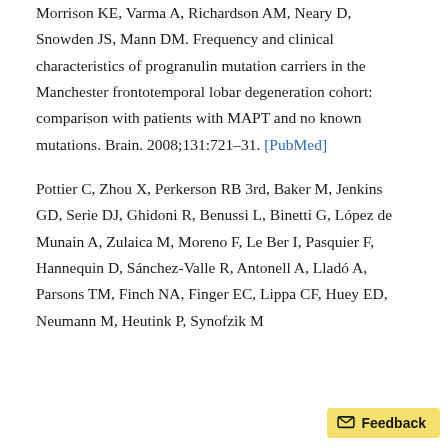Morrison KE, Varma A, Richardson AM, Neary D, Snowden JS, Mann DM. Frequency and clinical characteristics of progranulin mutation carriers in the Manchester frontotemporal lobar degeneration cohort: comparison with patients with MAPT and no known mutations. Brain. 2008;131:721–31. [PubMed]
Pottier C, Zhou X, Perkerson RB 3rd, Baker M, Jenkins GD, Serie DJ, Ghidoni R, Benussi L, Binetti G, López de Munain A, Zulaica M, Moreno F, Le Ber I, Pasquier F, Hannequin D, Sánchez-Valle R, Antonell A, Lladó A, Parsons TM, Finch NA, Finger EC, Lippa CF, Huey ED, Neumann M, Heutink P, Synofzik M